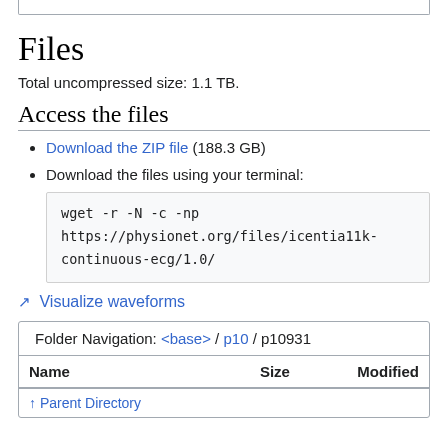Files
Total uncompressed size: 1.1 TB.
Access the files
Download the ZIP file (188.3 GB)
Download the files using your terminal:
wget -r -N -c -np
https://physionet.org/files/icentia11k-continuous-ecg/1.0/
✦ Visualize waveforms
| Name | Size | Modified |
| --- | --- | --- |
| Parent Directory |  |  |
Folder Navigation: <base> / p10 / p10931